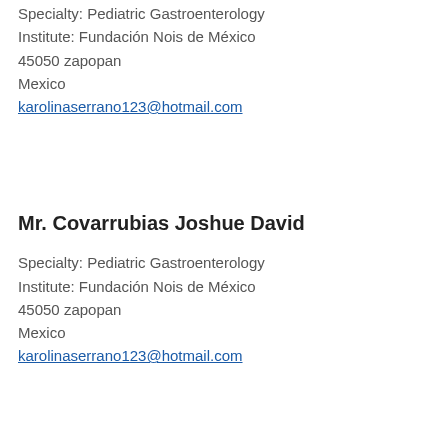Specialty: Pediatric Gastroenterology
Institute: Fundación Nois de México
45050 zapopan
Mexico
karolinaserrano123@hotmail.com
Mr. Covarrubias Joshue David
Specialty: Pediatric Gastroenterology
Institute: Fundación Nois de México
45050 zapopan
Mexico
karolinaserrano123@hotmail.com